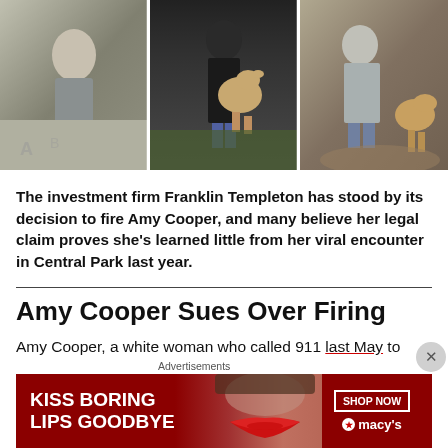[Figure (photo): Three-panel photo strip showing people with dogs in a park setting. Left panel shows a person holding a dog on a leash near chalk drawings. Middle panel shows a person in dark clothing with a golden retriever jumping up. Right panel shows a person walking a golden retriever on a dirt path.]
The investment firm Franklin Templeton has stood by its decision to fire Amy Cooper, and many believe her legal claim proves she's learned little from her viral encounter in Central Park last year.
Amy Cooper Sues Over Firing
Amy Cooper, a white woman who called 911 last May to falsely claim a Black man in Central Park was threatening
Advertisements
[Figure (photo): Macy's advertisement banner with red background. Left side shows white bold text: KISS BORING LIPS GOODBYE. Center shows a woman's face with red lips. Right side shows a white-bordered SHOP NOW button and Macy's logo with red star.]